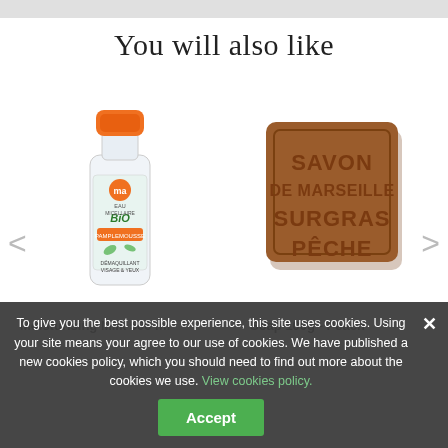You will also like
[Figure (photo): Micellar water bottle with orange cap, Bio label, 500ml]
[Figure (photo): Brown square soap block labeled SAVON DE MARSEILLE SURGRAS PÊCHE]
Moisturising Milk 500 ml
Soap 100g - Peach
To give you the best possible experience, this site uses cookies. Using your site means your agree to our use of cookies. We have published a new cookies policy, which you should need to find out more about the cookies we use. View cookies policy.